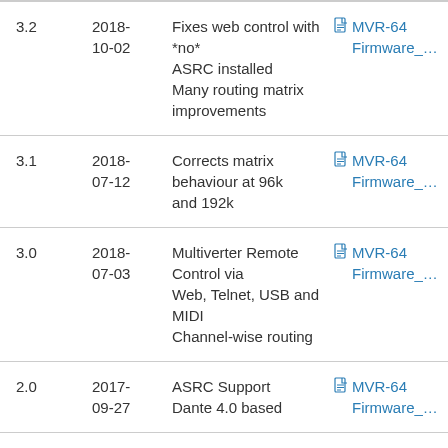| Version | Date | Description | Download |
| --- | --- | --- | --- |
| 3.2 | 2018-10-02 | Fixes web control with *no* ASRC installed
Many routing matrix improvements | MVR-64 Firmware_… |
| 3.1 | 2018-07-12 | Corrects matrix behaviour at 96k and 192k | MVR-64 Firmware_… |
| 3.0 | 2018-07-03 | Multiverter Remote Control via Web, Telnet, USB and MIDI
Channel-wise routing | MVR-64 Firmware_… |
| 2.0 | 2017-09-27 | ASRC Support
Dante 4.0 based | MVR-64 Firmware_… |
| 1.4 | 2017-04-13 | Panel lock
ADAT channel assignment | MVR-64 Firmware_… |